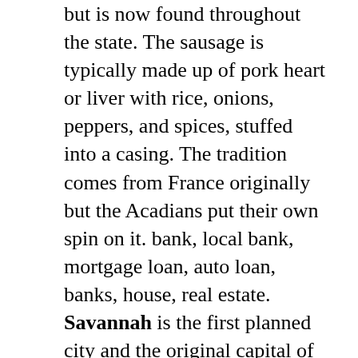but is now found throughout the state. The sausage is typically made up of pork heart or liver with rice, onions, peppers, and spices, stuffed into a casing. The tradition comes from France originally but the Acadians put their own spin on it. bank, local bank, mortgage loan, auto loan, banks, house, real estate. Savannah is the first planned city and the original capital of Georgia. Its 22 squares are best explored by foot, and our hotel puts you just steps from the city's most iconic sights, shopping, dining, and more. Feast your eyes on the elegant mansions, historic monuments, and quaint stores that create the one-of-a-kind ambiance that delights. Boudin noir: A dark-hued blood sausage, containing pork, pig blood, and other ingredients. Variants of the boudin noir occur in French, Belgian, Cajun and Catalan cuisine. The Catalan version of the boudin noir is called